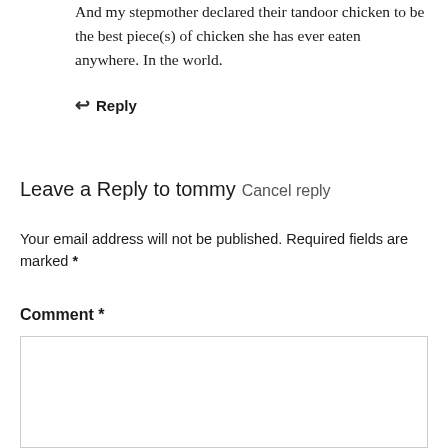And my stepmother declared their tandoor chicken to be the best piece(s) of chicken she has ever eaten anywhere. In the world.
↩ Reply
Leave a Reply to tommy Cancel reply
Your email address will not be published. Required fields are marked *
Comment *